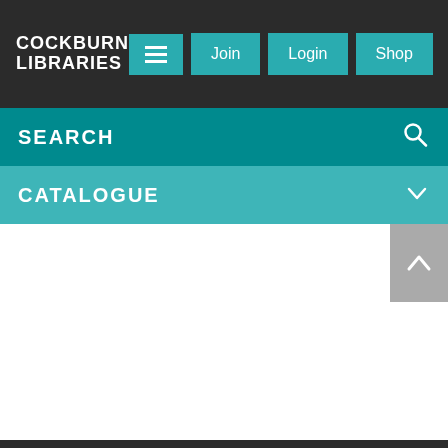COCKBURN LIBRARIES
SEARCH
CATALOGUE